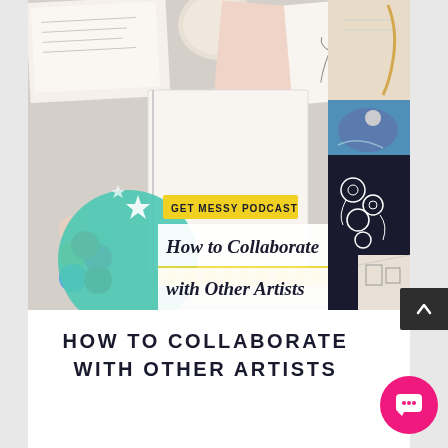[Figure (illustration): Podcast cover image for 'Get Messy Podcast' showing art supplies, sketchbooks, paint swatches, and various artworks on a flat lay background. Overlaid text includes a yellow badge 'GET MESSY PODCAST', large white text 'How to Collaborate with Other Artists', and a subtitle 'with six gorgeous Messy Artists'. A teal/mint circular graphic with sparkle icons is visible in the lower left of the image.]
HOW TO COLLABORATE WITH OTHER ARTISTS